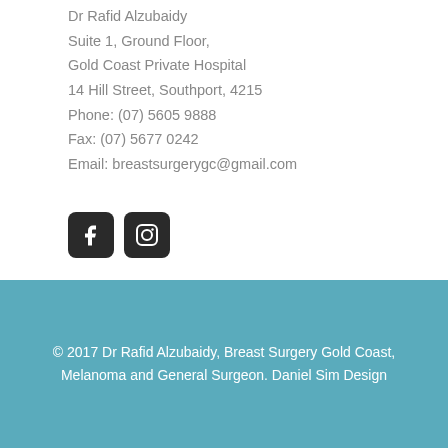Dr Rafid Alzubaidy
Suite 1, Ground Floor,
Gold Coast Private Hospital
14 Hill Street, Southport, 4215
Phone: (07) 5605 9888
Fax: (07) 5677 0242
Email: breastsurgerygc@gmail.com
[Figure (logo): Facebook and Instagram social media icon buttons]
© 2017 Dr Rafid Alzubaidy, Breast Surgery Gold Coast, Melanoma and General Surgeon. Daniel Sim Design